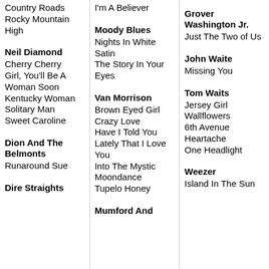Country Roads
Rocky Mountain High
Neil Diamond
Cherry Cherry
Girl, You'll Be A Woman Soon
Kentucky Woman
Solitary Man
Sweet Caroline
Dion And The Belmonts
Runaround Sue
Dire Straights
I'm A Believer
Moody Blues
Nights In White Satin
The Story In Your Eyes
Van Morrison
Brown Eyed Girl
Crazy Love
Have I Told You Lately That I Love You
Into The Mystic
Moondance
Tupelo Honey
Mumford And
Grover Washington Jr.
Just The Two of Us
John Waite
Missing You
Tom Waits
Jersey Girl
Wallflowers
6th Avenue Heartache
One Headlight
Weezer
Island In The Sun